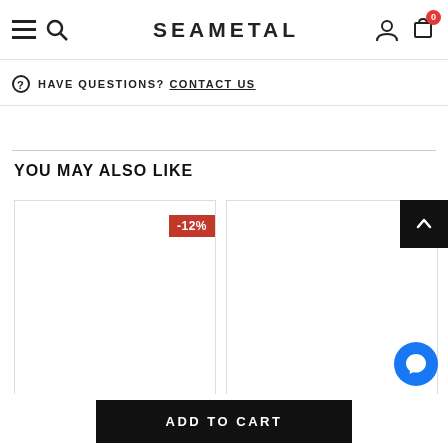SEAMETAL
HAVE QUESTIONS? CONTACT US
YOU MAY ALSO LIKE
[Figure (photo): Product card with -12% discount badge, white background product image]
[Figure (photo): Product card with partial discount badge visible, white background product image]